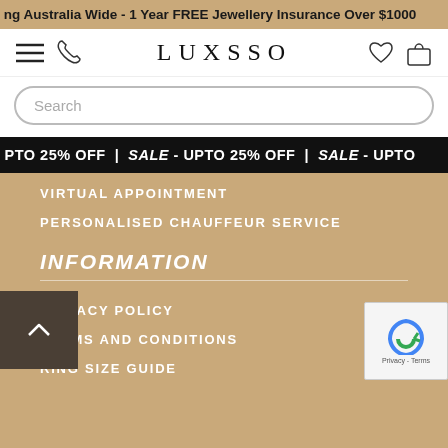ng Australia Wide - 1 Year FREE Jewellery Insurance Over $1000
[Figure (logo): LUXSSO logo with hamburger menu icon, phone icon on left, heart and bag icons on right]
Search
UPTO 25% OFF | SALE - UPTO 25% OFF | SALE - UPTO
VIRTUAL APPOINTMENT
PERSONALISED CHAUFFEUR SERVICE
INFORMATION
PRIVACY POLICY
TERMS AND CONDITIONS
RING SIZE GUIDE